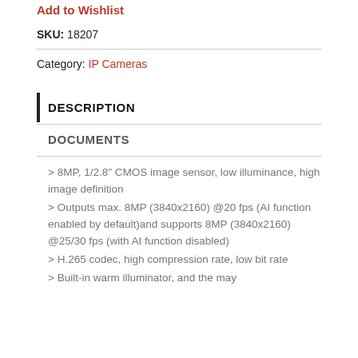Add to Wishlist
SKU: 18207
Category: IP Cameras
DESCRIPTION
DOCUMENTS
> 8MP, 1/2.8" CMOS image sensor, low illuminance, high image definition
> Outputs max. 8MP (3840x2160) @20 fps (AI function enabled by default)and supports 8MP (3840x2160) @25/30 fps (with AI function disabled)
> H.265 codec, high compression rate, low bit rate
> Built-in warm illuminator, and the may